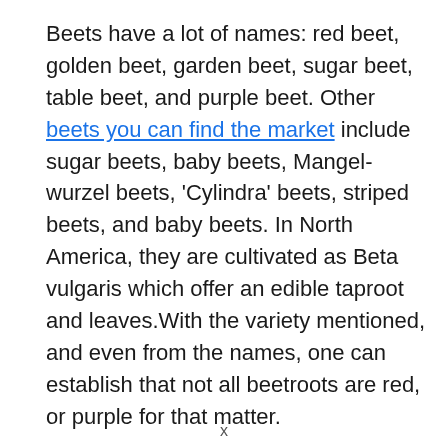Beets have a lot of names: red beet, golden beet, garden beet, sugar beet, table beet, and purple beet. Other beets you can find the market include sugar beets, baby beets, Mangel-wurzel beets, 'Cylindra' beets, striped beets, and baby beets. In North America, they are cultivated as Beta vulgaris which offer an edible taproot and leaves.With the variety mentioned, and even from the names, one can establish that not all beetroots are red, or purple for that matter.
x